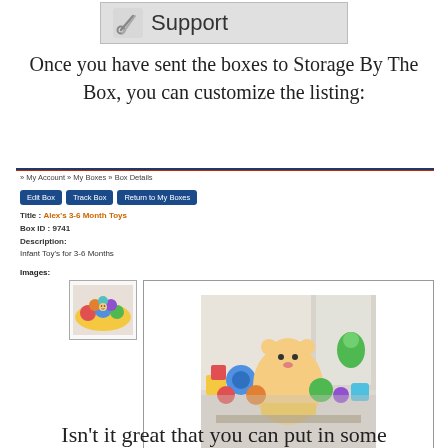[Figure (screenshot): Support banner with wrench/screwdriver icon and the word Support]
Once you have sent the boxes to Storage By The Box, you can customize the listing:
[Figure (screenshot): Web interface screenshot showing box details page with breadcrumb navigation (My Account > My Boxes > Box Details), Edit Box / Track Box / Return to My Boxes buttons, Title: Alex's 3-6 Month Toys, Box ID: 9741, Description: Infant Toy's for 3-6 Months, Images section with thumbnail and large photo of infant toys, and Status with BoxesInTransit panel showing Weight: 23 (Lbs) and Size: 34x12x12 (Inch)]
Isn't it great that you can put in some